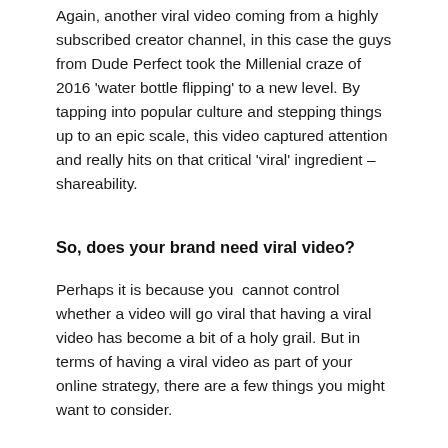Again, another viral video coming from a highly subscribed creator channel, in this case the guys from Dude Perfect took the Millenial craze of 2016 'water bottle flipping' to a new level. By tapping into popular culture and stepping things up to an epic scale, this video captured attention and really hits on that critical 'viral' ingredient – shareability.
So, does your brand need viral video?
Perhaps it is because you  cannot control whether a video will go viral that having a viral video has become a bit of a holy grail. But in terms of having a viral video as part of your online strategy, there are a few things you might want to consider.
[Figure (other): Social share buttons bar showing Facebook, Twitter, and LinkedIn icons]
Most viral videos, like the one's above, are not part